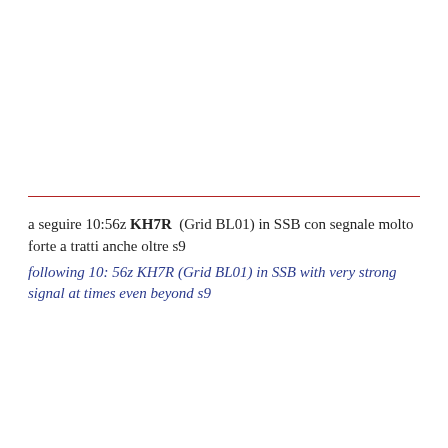a seguire 10:56z KH7R  (Grid BL01) in SSB con segnale molto forte a tratti anche oltre s9
following 10: 56z KH7R (Grid BL01) in SSB with very strong signal at times even beyond s9